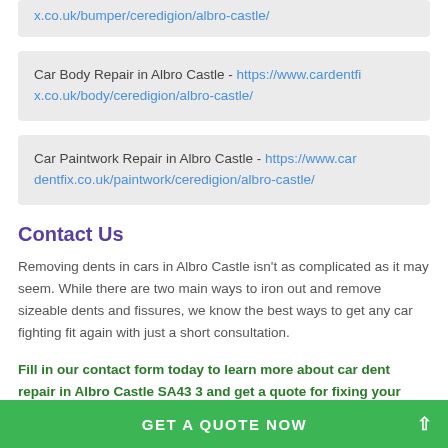x.co.uk/bumper/ceredigion/albro-castle/
Car Body Repair in Albro Castle - https://www.cardentfix.co.uk/body/ceredigion/albro-castle/
Car Paintwork Repair in Albro Castle - https://www.cardentfix.co.uk/paintwork/ceredigion/albro-castle/
Contact Us
Removing dents in cars in Albro Castle isn't as complicated as it may seem. While there are two main ways to iron out and remove sizeable dents and fissures, we know the best ways to get any car fighting fit again with just a short consultation.
Fill in our contact form today to learn more about car dent repair in Albro Castle SA43 3 and get a quote for fixing your motor!
GET A QUOTE NOW